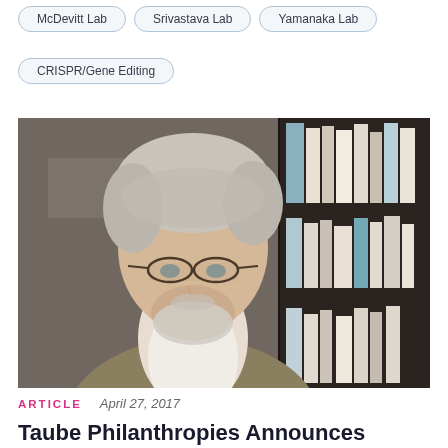McDevitt Lab
Srivastava Lab
Yamanaka Lab
CRISPR/Gene Editing
[Figure (photo): Portrait photo of a middle-aged man with gray hair, glasses, and a beard wearing a white shirt and olive blazer, seated in front of a bookshelf]
ARTICLE   April 27, 2017
Taube Philanthropies Announces